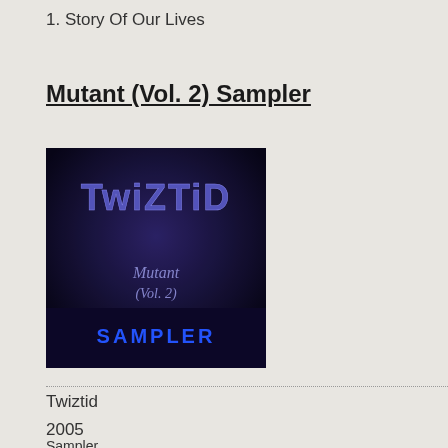1. Story Of Our Lives
Mutant (Vol. 2) Sampler
[Figure (photo): Album cover art for Twiztid - Mutant (Vol. 2) Sampler. Dark blue/purple image with 'TWIZTID' in large gothic letters at the top, 'Mutant (Vol. 2)' in smaller gothic text in the middle, and 'SAMPLER' in blue letters at the bottom.]
Twiztid
2005
Sampler